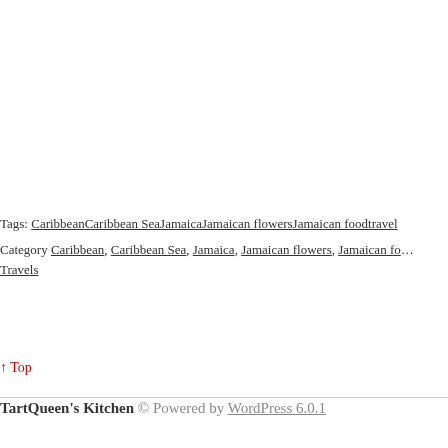Tags: CaribbeanCaribbean SeaJamaicaJamaican flowersJamaican foodtravel
Category Caribbean, Caribbean Sea, Jamaica, Jamaican flowers, Jamaican fo... Travels
↑ Top
TartQueen's Kitchen © Powered by WordPress 6.0.1